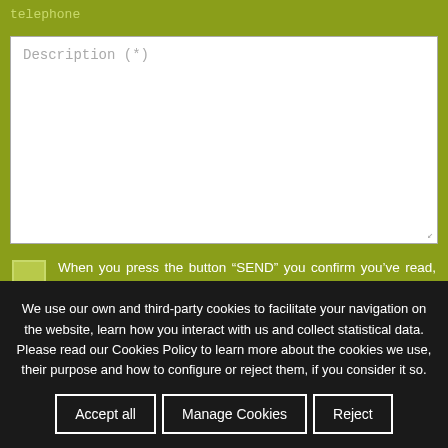telephone
Description (*)
When you press the button “SEND” you confirm you’ve read, understood and accepted the conditions of our Privacy Policy shown in this LINK
Send
We use our own and third-party cookies to facilitate your navigation on the website, learn how you interact with us and collect statistical data. Please read our Cookies Policy to learn more about the cookies we use, their purpose and how to configure or reject them, if you consider it so.
Accept all
Manage Cookies
Reject